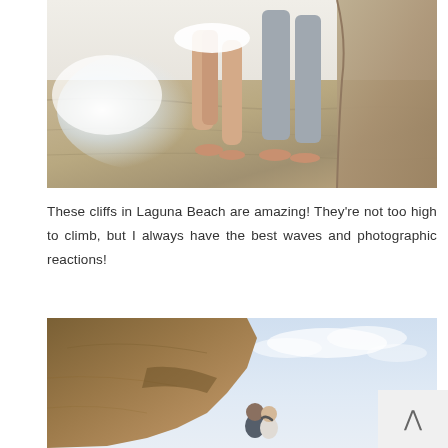[Figure (photo): Close-up photo of two people's legs/feet standing on rocky coastal cliffs at Laguna Beach, with ocean waves splashing in the background. One person wearing a white dress, the other in gray pants.]
These cliffs in Laguna Beach are amazing! They're not too high to climb, but I always have the best waves and photographic reactions!
[Figure (photo): Photo of a couple embracing near dramatic coastal cliffs at Laguna Beach, with a bright sky and ocean in the background. The cliff rock formation juts out prominently on the left side.]